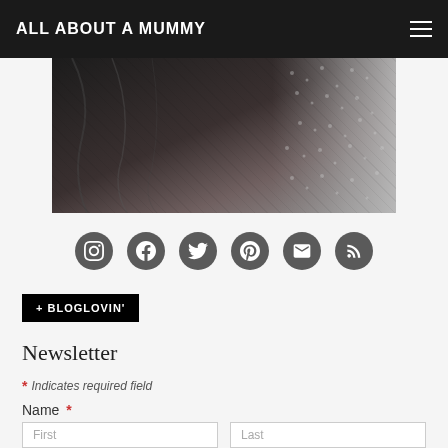ALL ABOUT A MUMMY
[Figure (photo): Black and white close-up photo of clothing/fabric texture]
[Figure (infographic): Row of 6 social media icons: Instagram, Facebook, Twitter, Pinterest, Email, RSS]
+ BLOGLOVIN'
Newsletter
* Indicates required field
Name *
First
Last